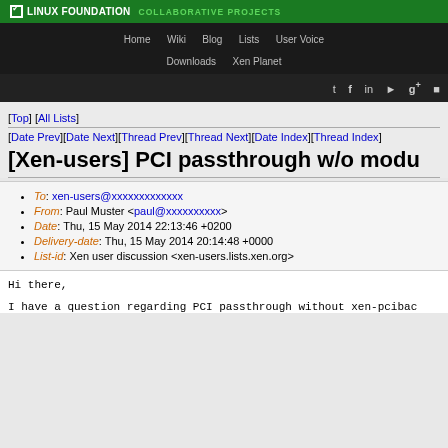LINUX FOUNDATION COLLABORATIVE PROJECTS
Home  Wiki  Blog  Lists  User Voice  Downloads  Xen Planet
[Top] [All Lists]
[Date Prev][Date Next][Thread Prev][Thread Next][Date Index][Thread Index]
[Xen-users] PCI passthrough w/o modu
To: xen-users@xxxxxxxxxxxxx
From: Paul Muster <paul@xxxxxxxxxx>
Date: Thu, 15 May 2014 22:13:46 +0200
Delivery-date: Thu, 15 May 2014 20:14:48 +0000
List-id: Xen user discussion <xen-users.lists.xen.org>
Hi there,
I have a question regarding PCI passthrough without xen-pcibac